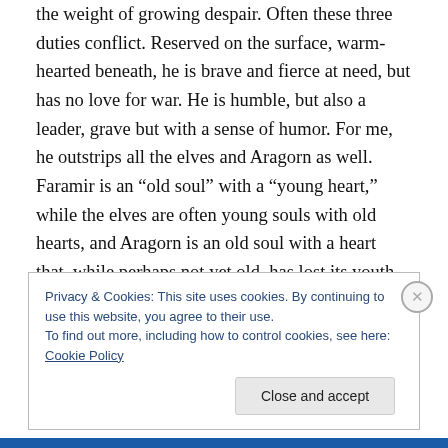the weight of growing despair. Often these three duties conflict. Reserved on the surface, warm-hearted beneath, he is brave and fierce at need, but has no love for war. He is humble, but also a leader, grave but with a sense of humor. For me, he outstrips all the elves and Aragorn as well. Faramir is an “old soul” with a “young heart,” while the elves are often young souls with old hearts, and Aragorn is an old soul with a heart that, while perhaps not yet old, has lost its youth. Faramir is vitality with a steady mind, and he sticks to his honor while taking full advantage of his liberty. In short, he is an excellent
Privacy & Cookies: This site uses cookies. By continuing to use this website, you agree to their use.
To find out more, including how to control cookies, see here: Cookie Policy